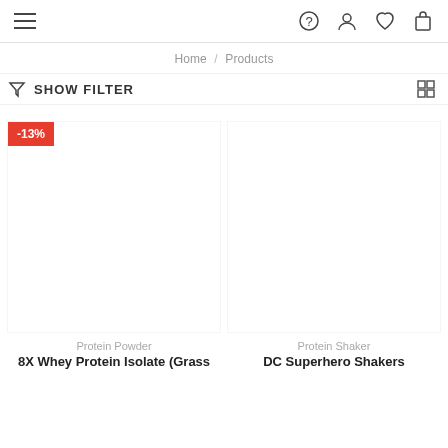Navigation header with hamburger menu and icons: help, account, wishlist, cart
Home / Products
SHOW FILTER
[Figure (screenshot): Product card with -13% red badge, product image area (blank), category label 'Protein Powder', product name '8X Whey Protein Isolate (Grass']
[Figure (screenshot): Product card with no badge, product image area (blank), category label 'Protein Shaker', product name 'DC Superhero Shakers']